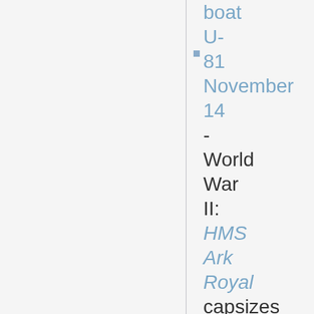boat U-81 · November 14 - World War II: HMS Ark Royal capsizes and sinks, having